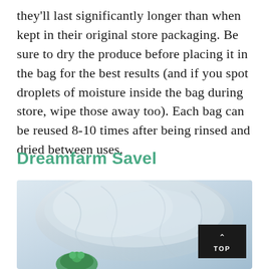they'll last significantly longer than when kept in their original store packaging. Be sure to dry the produce before placing it in the bag for the best results (and if you spot droplets of moisture inside the bag during store, wipe those away too). Each bag can be reused 8-10 times after being rinsed and dried between uses.
Dreamfarm Savel
[Figure (photo): Close-up photo of a light blue/grey fabric storage bag with a green vegetable (broccoli) visible at the bottom, shown against a light background. A black 'TOP' navigation button with an upward arrow is overlaid in the bottom right corner.]